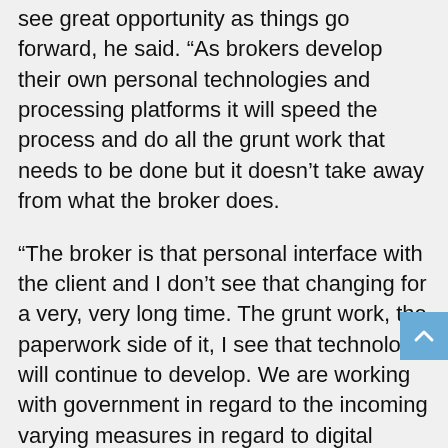see great opportunity as things go forward, he said. “As brokers develop their own personal technologies and processing platforms it will speed the process and do all the grunt work that needs to be done but it doesn’t take away from what the broker does.
“The broker is that personal interface with the client and I don’t see that changing for a very, very long time. The grunt work, the paperwork side of it, I see that technology will continue to develop. We are working with government in regard to the incoming varying measures in regard to digital signatures and mortgages and the like. Those things will enable faster processing, faster fulfilments.”